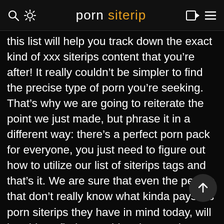porn siterip
this list will help you track down the exact kind of xxx siterips content that you’re after! It really couldn’t be simpler to find the precise type of porn you’re seeking. That’s why we are going to reiterate the point we just made, but phrase it in a different way: there’s a perfect porn pack for everyone, you just need to figure out how to utilize our list of siterips tags and that’s it. We are sure that even the people that don’t really know what kinda paysites porn siterips they have in mind today, will be able to find something that catches their attention whilst scrolling through this list. By the way, a brand-new theater ManyVids pornstars pack sounds like a pretty hot option, does it not? Either way, we have to p out the obvious: our collection is evolving on a d fucking basis, which means there are lots and lots of